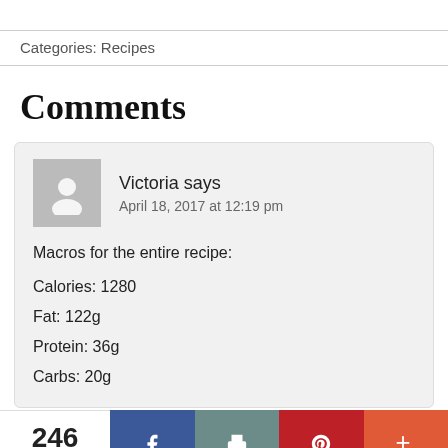Categories: Recipes
Comments
Victoria says
April 18, 2017 at 12:19 pm

Macros for the entire recipe:

Calories: 1280
Fat: 122g
Protein: 36g
Carbs: 20g
246 SHARES